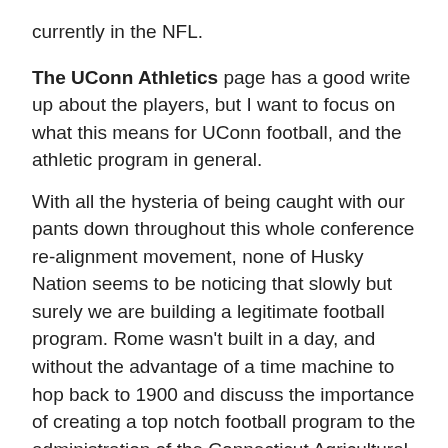currently in the NFL.
The UConn Athletics page has a good write up about the players, but I want to focus on what this means for UConn football, and the athletic program in general.
With all the hysteria of being caught with our pants down throughout this whole conference re-alignment movement, none of Husky Nation seems to be noticing that slowly but surely we are building a legitimate football program. Rome wasn’t built in a day, and without the advantage of a time machine to hop back to 1900 and discuss the importance of creating a top notch football program to the administration of the Connecticut Agricultural School, the only way to football relevance will be the slow and steady path we are currently on.